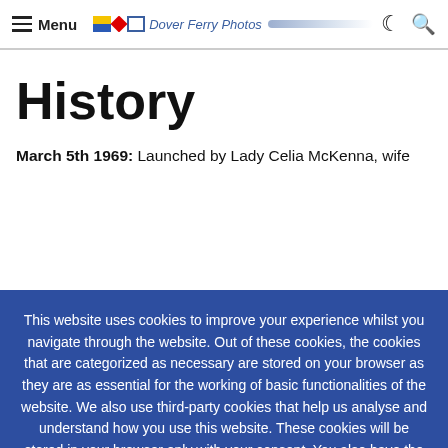Menu | Dover Ferry Photos
History
March 5th 1969: Launched by Lady Celia McKenna, wife
This website uses cookies to improve your experience whilst you navigate through the website. Out of these cookies, the cookies that are categorized as necessary are stored on your browser as they are as essential for the working of basic functionalities of the website. We also use third-party cookies that help us analyse and understand how you use this website. These cookies will be stored in your browser only with your consent. You also have the option to opt-out of these cookies. But opting out of some of these cookies may have an effect on your browsing experience.
Accept All | Reject | Cookie settings | Read More